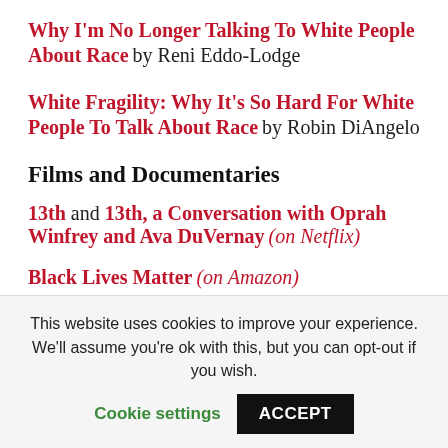Why I'm No Longer Talking To White People About Race by Reni Eddo-Lodge
White Fragility: Why It's So Hard For White People To Talk About Race by Robin DiAngelo
Films and Documentaries
13th and 13th, a Conversation with Oprah Winfrey and Ava DuVernay (on Netflix)
Black Lives Matter (on Amazon)
When They See Us (on Netflix)
This website uses cookies to improve your experience. We'll assume you're ok with this, but you can opt-out if you wish.
Cookie settings  ACCEPT